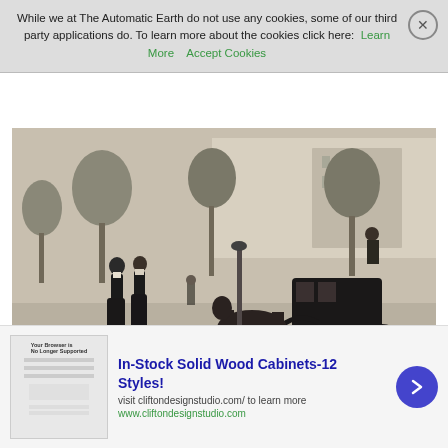While we at The Automatic Earth do not use any cookies, some of our third party applications do. To learn more about the cookies click here: Learn More   Accept Cookies
[Figure (photo): Historical black and white photograph of a cab stand at Madison Square, NY circa 1900. Shows women in Victorian dress walking on a tree-lined street, with horse-drawn carriages and coachmen visible.]
DPC Cab stand at Madison Square, NY c1900
In-Stock Solid Wood Cabinets-12 Styles! visit cliftondesignstudio.com/ to learn more www.cliftondesignstudio.com